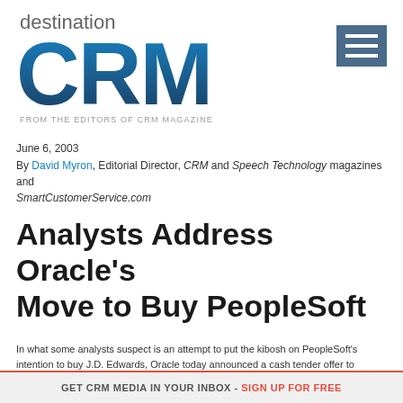[Figure (logo): Destination CRM logo — large blue gradient CRM letters with 'destination' above in gray and 'FROM THE EDITORS OF CRM MAGAZINE' below in gray]
June 6, 2003
By David Myron, Editorial Director, CRM and Speech Technology magazines and SmartCustomerService.com
Analysts Address Oracle's Move to Buy PeopleSoft
In what some analysts suspect is an attempt to put the kibosh on PeopleSoft's intention to buy J.D. Edwards, Oracle today announced a cash tender offer to purchase all outstanding shares
GET CRM MEDIA IN YOUR INBOX - SIGN UP FOR FREE